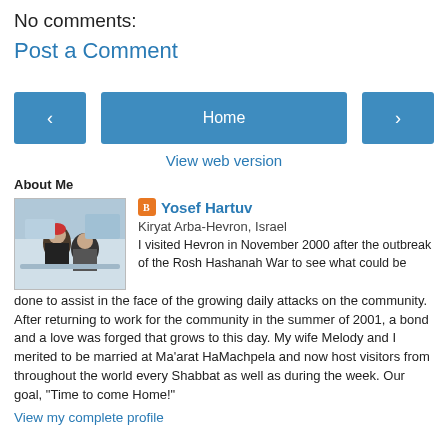No comments:
Post a Comment
< Home >
View web version
About Me
[Figure (photo): Profile photo of Yosef Hartuv showing two people outdoors in winter]
Yosef Hartuv
Kiryat Arba-Hevron, Israel
I visited Hevron in November 2000 after the outbreak of the Rosh Hashanah War to see what could be done to assist in the face of the growing daily attacks on the community. After returning to work for the community in the summer of 2001, a bond and a love was forged that grows to this day. My wife Melody and I merited to be married at Ma'arat HaMachpela and now host visitors from throughout the world every Shabbat as well as during the week. Our goal, "Time to come Home!"
View my complete profile